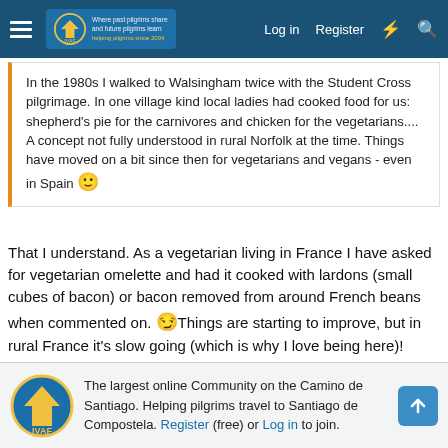Where past pilgrims share and future pilgrims learn helping pilgrims since 2004 | Log in | Register
In the 1980s I walked to Walsingham twice with the Student Cross pilgrimage. In one village kind local ladies had cooked food for us: shepherd's pie for the carnivores and chicken for the vegetarians.... A concept not fully understood in rural Norfolk at the time. Things have moved on a bit since then for vegetarians and vegans - even in Spain 🙂
That I understand. As a vegetarian living in France I have asked for vegetarian omelette and had it cooked with lardons (small cubes of bacon) or bacon removed from around French beans when commented on. 😏Things are starting to improve, but in rural France it's slow going (which is why I love being here)!
↩ Reply
Señor Jacques and mcpath
The largest online Community on the Camino de Santiago. Helping pilgrims travel to Santiago de Compostela. Register (free) or Log in to join.